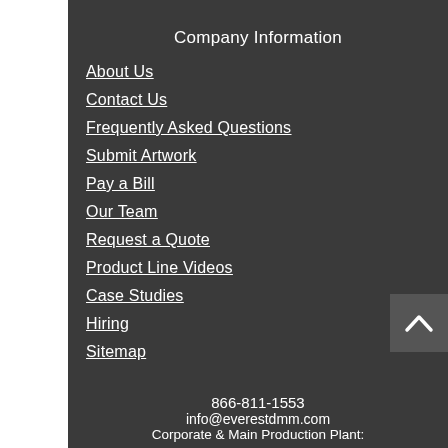Company Information
About Us
Contact Us
Frequently Asked Questions
Submit Artwork
Pay a Bill
Our Team
Request a Quote
Product Line Videos
Case Studies
Hiring
Sitemap
866-811-1553
info@everestdmm.com
Corporate & Main Production Plant: